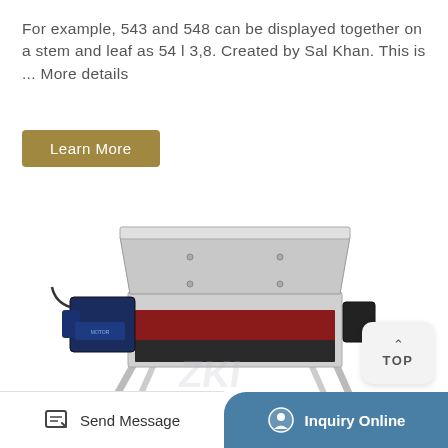For example, 543 and 548 can be displayed together on a stem and leaf as 54 l 3,8. Created by Sal Khan. This is ... More details
Learn More
[Figure (photo): Industrial machine (roller/conveyor type) on a stainless steel stand with a blue motor on the left side and a red interior roller visible, white background with watermark 'ZKI']
TOP
Send Message
Inquiry Online